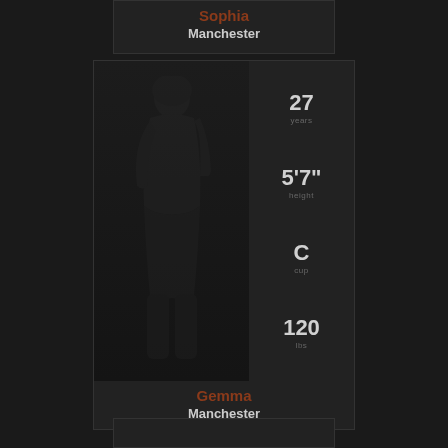Sophia
Manchester
[Figure (photo): Dark profile photo of a person posing, showing stats: age 27, height 5'7", cup C, weight 120]
27 years
5'7" height
C cup
120 lbs
Gemma
Manchester